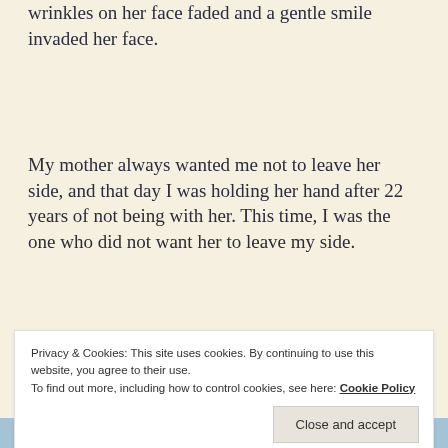wrinkles on her face faded and a gentle smile invaded her face.
My mother always wanted me not to leave her side, and that day I was holding her hand after 22 years of not being with her. This time, I was the one who did not want her to leave my side.
Bach can make miracles, and bring my mom back to
Privacy & Cookies: This site uses cookies. By continuing to use this website, you agree to their use.
To find out more, including how to control cookies, see here: Cookie Policy
Close and accept
[Figure (photo): Bottom strip showing a partial image, appears to be a building or outdoor scene]